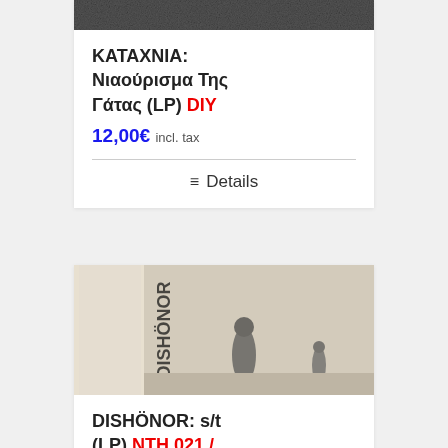[Figure (photo): Album cover image for KATAXNIA - top portion visible, dark/grainy texture]
KATAXNIA: Νιαούρισμα Της Γάτας (LP) DIY
12,00€ incl. tax
Details
[Figure (photo): Album cover for DISHÖNOR s/t LP - black and white image showing two figures in a desert/rocky landscape with vertical band on left reading DISHÖNOR]
DISHÖNOR: s/t (LP) NTH 021 / SAORS 096
10,00€ incl. tax